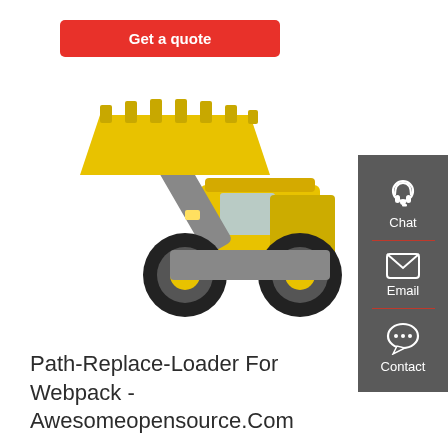Get a quote
[Figure (photo): Yellow wheel loader / front-end loader construction machine with raised bucket, on white background]
[Figure (infographic): Dark grey sidebar with Chat (headset icon), Email (envelope icon), and Contact (speech bubble icon) buttons separated by red dividers]
Path-Replace-Loader For Webpack - Awesomeopensource.Com